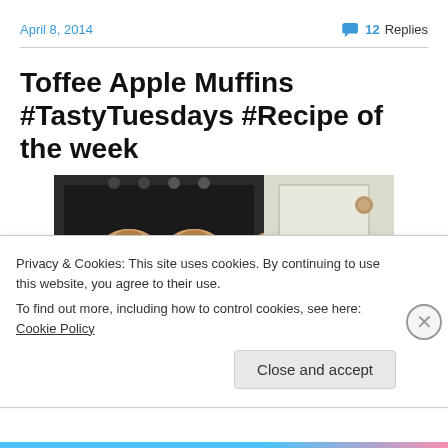April 8, 2014 | 12 Replies
Toffee Apple Muffins #TastyTuesdays #Recipe of the week
[Figure (photo): Muffins being taken out of an oven, placed on a blue tray, inside a kitchen.]
Privacy & Cookies: This site uses cookies. By continuing to use this website, you agree to their use.
To find out more, including how to control cookies, see here: Cookie Policy